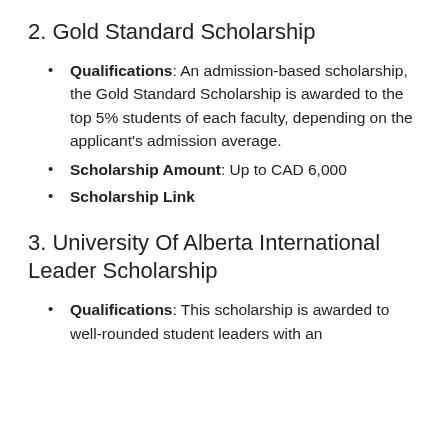2. Gold Standard Scholarship
Qualifications: An admission-based scholarship, the Gold Standard Scholarship is awarded to the top 5% students of each faculty, depending on the applicant's admission average.
Scholarship Amount: Up to CAD 6,000
Scholarship Link
3. University Of Alberta International Leader Scholarship
Qualifications: This scholarship is awarded to well-rounded student leaders with an